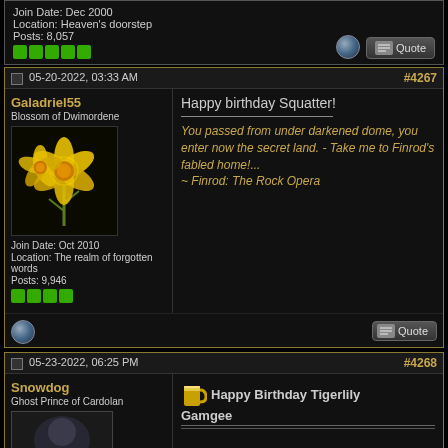Join Date: Dec 2000
Location: Heaven's doorstep
Posts: 8,057
#4267 | 05-20-2022, 03:33 AM
Galadriel55
Blossom of Dwimordene
Join Date: Oct 2010
Location: The realm of forgotten words
Posts: 9,946
Happy birthday Squatter!

You passed from under darkened dome, you enter now the secret land. - Take me to Finrod's fabled home!...
~ Finrod: The Rock Opera
#4268 | 05-23-2022, 06:25 PM
Snowdog
Ghost Prince of Cardolan
Happy Birthday Tigerlily Gamgee